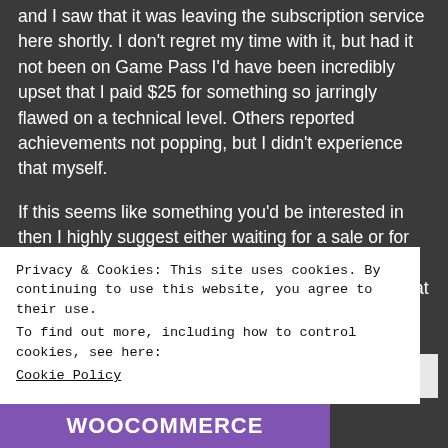and I saw that it was leaving the subscription service here shortly. I don't regret my time with it, but had it not been on Game Pass I'd have been incredibly upset that I paid $25 for something so jarringly flawed on a technical level. Others reported achievements not popping, but I didn't experience that myself.

If this seems like something you'd be interested in then I highly suggest either waiting for a sale or for an update patch to fix the glaring issues. It's been available since 2019, though, so the likelihood of that happening in 2021 is pretty slim
Privacy & Cookies: This site uses cookies. By continuing to use this website, you agree to their use.
To find out more, including how to control cookies, see here:
Cookie Policy
Close and accept
[Figure (logo): WooCommerce logo in white text on purple background]